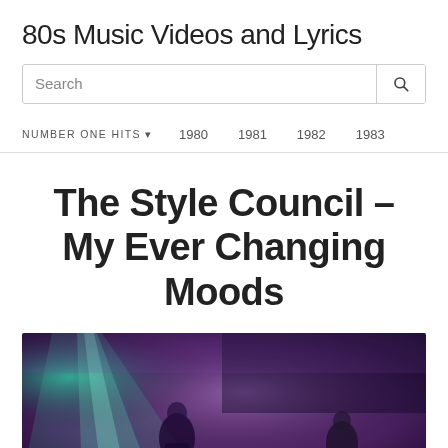80s Music Videos and Lyrics
Search
NUMBER ONE HITS  1980  1981  1982  1983
The Style Council – My Ever Changing Moods
[Figure (photo): Music video screenshot showing two performers on a dark stage with purple and teal stage lighting effects]